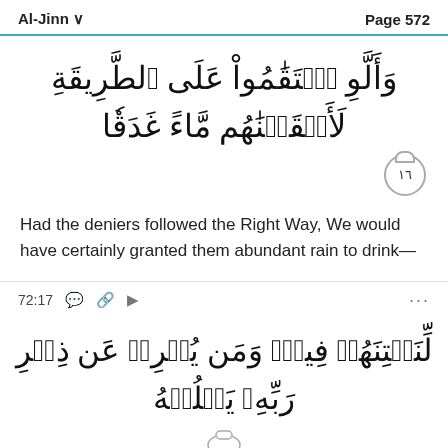Al-Jinn    Page 572
وَأَلَّوِ ٱسۡتَقَٰمُواْ عَلَى ٱلطَّرِيقَةِ لَأَسۡقَيۡنَٰهُم مَّاءً غَدَقٗا
١٦
Had the deniers followed the Right Way, We would have certainly granted them abundant rain to drink—
72:17
لِّنَفۡتِنَهُمۡ فِيهِۚ وَمَن يُعۡرِضۡ عَن ذِكۡرِ رَبِّهِۦ يَسۡلُكۡهُ